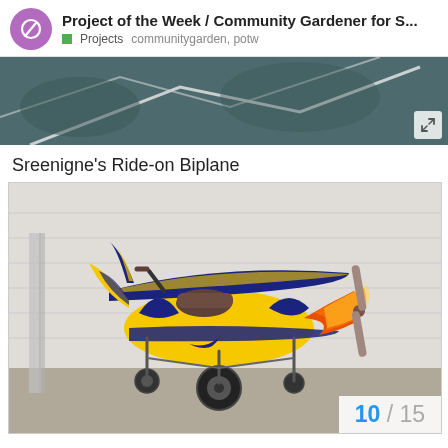Project of the Week / Community Gardener for S... Projects communitygarden, potw
[Figure (photo): Top partial photo showing a dark teal/grey textured surface with white geometric lines, partially visible]
Sreenigne's Ride-on Biplane
[Figure (photo): Photo of a colorful handmade ride-on biplane toy, painted yellow and dark blue with orange/red flame accents, with a wooden propeller, seat, handlebars, and small wheels, sitting on a garage floor in front of white horizontal siding]